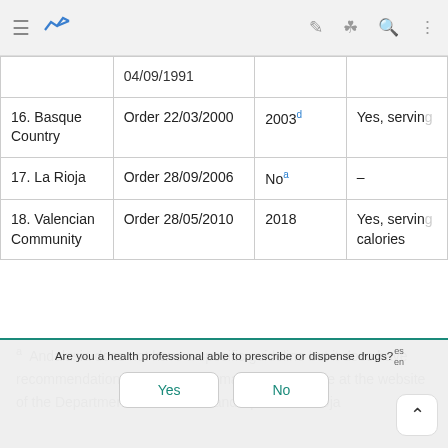| Region | Order | Year | Details |
| --- | --- | --- | --- |
|  | 04/09/1991 |  |  |
| 16. Basque Country | Order 22/03/2000 | 2003d | Yes, serving |
| 17. La Rioja | Order 28/09/2006 | Noa | – |
| 18. Valencian Community | Order 28/05/2010 | 2018 | Yes, serving calories |
a  Andalusia does not have a specific guideline but it does have recommendations and guidance materials available at the website of the Department of Education and Sports. La Rioja
Are you a health professional able to prescribe or dispense drugs?